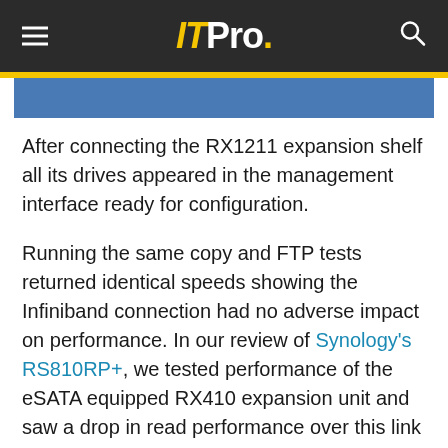ITPro.
[Figure (screenshot): Blue/teal image strip partially visible below the header yellow bar]
After connecting the RX1211 expansion shelf all its drives appeared in the management interface ready for configuration.
Running the same copy and FTP tests returned identical speeds showing the Infiniband connection had no adverse impact on performance. In our review of Synology's RS810RP+, we tested performance of the eSATA equipped RX410 expansion unit and saw a drop in read performance over this link of nearly 20 per cent.
Advertisement Article continues below